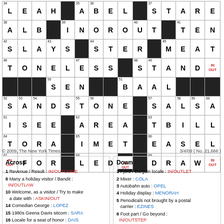[Figure (other): NY Times crossword puzzle grid, partially filled, showing answers for rows 34-69 across and corresponding down answers]
© 2009, The New York Times    3/4/09 ( No. 21,666 )
Across
1 Revenue / Result : IN/OUTCOME
6 Many a holiday visitor / Bandit : IN/OUTLAW
10 Welcome, as a visitor / Try to make a date with : ASKIN/OUT
14 Comedian George : LOPEZ
15 1980s Geena Davis sitcom : SARA
16 Locale for a seat of honor : DAIS
17 1985 Kate Nelligan title role : ELENI
18 Chickadee's perch : TWIG
19 Up to the job : ABLE
Down
1 Fjord / Bargain locale : IN/OUTLET
2 Mixer : COLA
3 Autobahn auto : OPEL
4 Holiday display : MENORAH
5 Periodicals not brought by a postal carrier : EZINES
6 Foot part / Go beyond : IN/OUTSTEP
7 White House adjunct : LAWN
8 Parched : ARID
9 They may be covered and circled : WAGONS